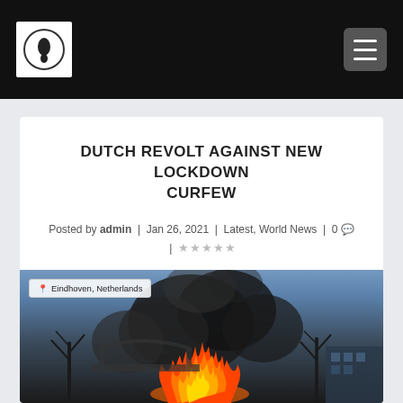Site logo and navigation menu
DUTCH REVOLT AGAINST NEW LOCKDOWN CURFEW
Posted by admin | Jan 26, 2021 | Latest, World News | 0 💬 | ★★★★★
[Figure (photo): Photo of a fire burning in the street in Eindhoven, Netherlands, with bare trees, dark smoke, and buildings in the background. Location tag reads: Eindhoven, Netherlands.]